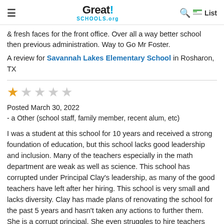GreatSchools.org
& fresh faces for the front office. Over all a way better school then previous administration. Way to Go Mr Foster.
A review for Savannah Lakes Elementary School in Rosharon, TX
[Figure (other): 1 out of 5 stars rating — one filled gold star and four empty grey stars]
Posted March 30, 2022
- a Other (school staff, family member, recent alum, etc)
I was a student at this school for 10 years and received a strong foundation of education, but this school lacks good leadership and inclusion. Many of the teachers especially in the math department are weak as well as science. This school has corrupted under Principal Clay's leadership, as many of the good teachers have left after her hiring. This school is very small and lacks diversity. Clay has made plans of renovating the school for the past 5 years and hasn't taken any actions to further them. She is a corrupt principal. She even struggles to hire teachers